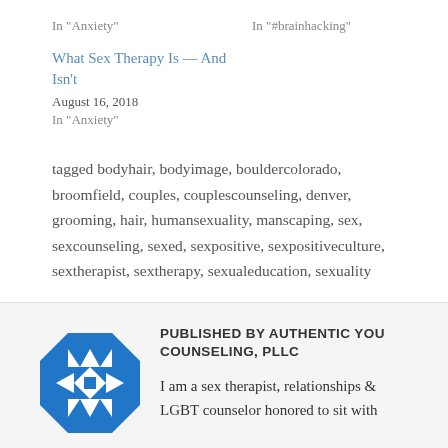In "Anxiety"
In "#brainhacking"
What Sex Therapy Is — And Isn't
August 16, 2018
In "Anxiety"
tagged bodyhair, bodyimage, bouldercolorado, broomfield, couples, couplescounseling, denver, grooming, hair, humansexuality, manscaping, sex, sexcounseling, sexed, sexpositive, sexpositiveculture, sextherapist, sextherapy, sexualeducation, sexuality
[Figure (logo): Blue geometric quilt-pattern logo for Authentic You Counseling, PLLC]
PUBLISHED BY AUTHENTIC YOU COUNSELING, PLLC
I am a sex therapist, relationships & LGBT counselor honored to sit with